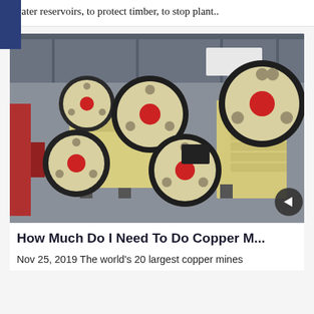water reservoirs, to protect timber, to stop plant..
[Figure (photo): Industrial jaw crusher machines in a factory/warehouse setting. Multiple large cream/beige colored jaw crushers with black flywheels and red center hubs are displayed on a concrete floor inside a large industrial building.]
How Much Do I Need To Do Copper M...
Nov 25, 2019 The world's 20 largest copper mines